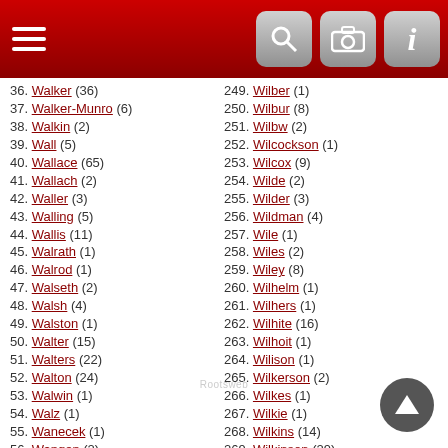Navigation header with menu, search, camera, and info icons
36. Walker (36)
37. Walker-Munro (6)
38. Walkin (2)
39. Wall (5)
40. Wallace (65)
41. Wallach (2)
42. Waller (3)
43. Walling (5)
44. Wallis (11)
45. Walrath (1)
46. Walrod (1)
47. Walseth (2)
48. Walsh (4)
49. Walston (1)
50. Walter (15)
51. Walters (22)
52. Walton (24)
53. Walwin (1)
54. Walz (1)
55. Wanecek (1)
56. Wangen (2)
57. Wannamaker (1)
58. Wanser (1)
59. Waple (1)
60. Warburton (2)
61. Ward (50)
62. Wardle (1)
249. Wilber (1)
250. Wilbur (8)
251. Wilbw (2)
252. Wilcockson (1)
253. Wilcox (9)
254. Wilde (2)
255. Wilder (3)
256. Wildman (4)
257. Wile (1)
258. Wiles (2)
259. Wiley (8)
260. Wilhelm (1)
261. Wilhers (1)
262. Wilhite (16)
263. Wilhoit (1)
264. Wilison (1)
265. Wilkerson (2)
266. Wilkes (1)
267. Wilkie (1)
268. Wilkins (14)
269. Wilkinson (29)
270. Wilkison (3)
271. Will (12)
272. Willard (3)
273. Willebrun (1)
274. Willet (1)
275. Willett (8)